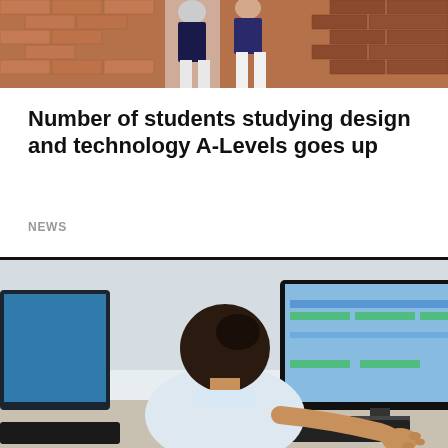[Figure (photo): Partial photo of two people near a brick wall, cropped at top]
Number of students studying design and technology A-Levels goes up
NEWS
[Figure (photo): Young student with dark hair sitting at a desk working on a desktop computer, viewed from behind and slightly to the side]